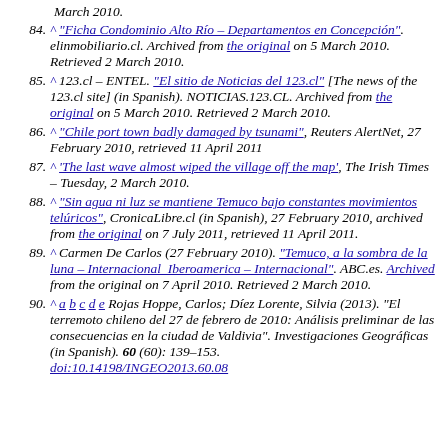continuation: March 2010.
84. ^ "Ficha Condominio Alto Río – Departamentos en Concepción". elinmobiliario.cl. Archived from the original on 5 March 2010. Retrieved 2 March 2010.
85. ^ 123.cl – ENTEL. "El sitio de Noticias del 123.cl" [The news of the 123.cl site] (in Spanish). NOTICIAS.123.CL. Archived from the original on 5 March 2010. Retrieved 2 March 2010.
86. ^ "Chile port town badly damaged by tsunami", Reuters AlertNet, 27 February 2010, retrieved 11 April 2011
87. ^ 'The last wave almost wiped the village off the map', The Irish Times – Tuesday, 2 March 2010.
88. ^ "Sin agua ni luz se mantiene Temuco bajo constantes movimientos telúricos", CronicaLibre.cl (in Spanish), 27 February 2010, archived from the original on 7 July 2011, retrieved 11 April 2011.
89. ^ Carmen De Carlos (27 February 2010). "Temuco, a la sombra de la luna – Internacional Iberoamerica – Internacional". ABC.es. Archived from the original on 7 April 2010. Retrieved 2 March 2010.
90. ^ a b c d e Rojas Hoppe, Carlos; Díez Lorente, Silvia (2013). "El terremoto chileno del 27 de febrero de 2010: Análisis preliminar de las consecuencias en la ciudad de Valdivia". Investigaciones Geográficas (in Spanish). 60 (60): 139–153. doi:10.14198/INGEO2013.60.08